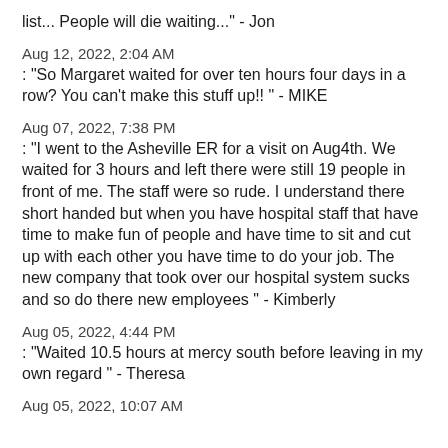list... People will die waiting..." - Jon
Aug 12, 2022, 2:04 AM
: "So Margaret waited for over ten hours four days in a row? You can't make this stuff up!! " - MIKE
Aug 07, 2022, 7:38 PM
: "I went to the Asheville ER for a visit on Aug4th. We waited for 3 hours and left there were still 19 people in front of me. The staff were so rude. I understand there short handed but when you have hospital staff that have time to make fun of people and have time to sit and cut up with each other you have time to do your job. The new company that took over our hospital system sucks and so do there new employees " - Kimberly
Aug 05, 2022, 4:44 PM
: "Waited 10.5 hours at mercy south before leaving in my own regard " - Theresa
Aug 05, 2022, 10:07 AM